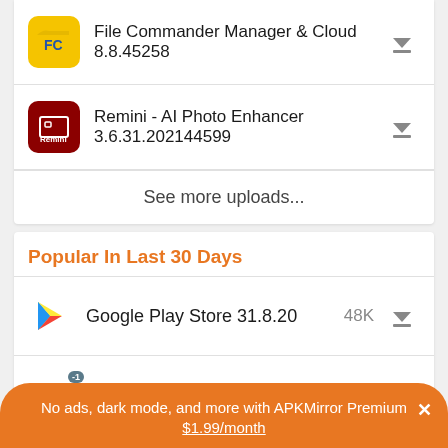File Commander Manager & Cloud 8.8.45258
Remini - AI Photo Enhancer 3.6.31.202144599
See more uploads...
Popular In Last 30 Days
Google Play Store 31.8.20  48K
Google Play Store 31.7.16  47K
No ads, dark mode, and more with APKMirror Premium ×
$1.99/month